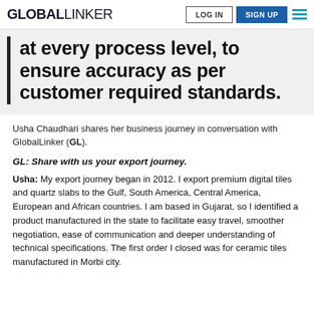GLOBALLINKER | LOG IN | SIGN UP
at every process level, to ensure accuracy as per customer required standards.
Usha Chaudhari shares her business journey in conversation with GlobalLinker (GL).
GL: Share with us your export journey.
Usha: My export journey began in 2012. I export premium digital tiles and quartz slabs to the Gulf, South America, Central America, European and African countries. I am based in Gujarat, so I identified a product manufactured in the state to facilitate easy travel, smoother negotiation, ease of communication and deeper understanding of technical specifications. The first order I closed was for ceramic tiles manufactured in Morbi city.